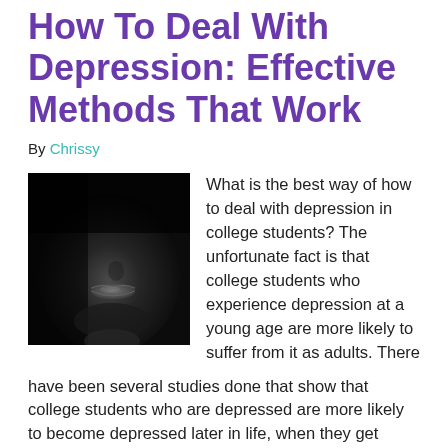How To Deal With Depression: Effective Methods That Work
By Chrissy
[Figure (photo): Black and white close-up photo of a person's face, partially in shadow, showing lips and lower face, conveying a somber mood.]
What is the best way of how to deal with depression in college students? The unfortunate fact is that college students who experience depression at a young age are more likely to suffer from it as adults. There have been several studies done that show that college students who are depressed are more likely to become depressed later in life, when they get older. Therefore, if … [Read more...]